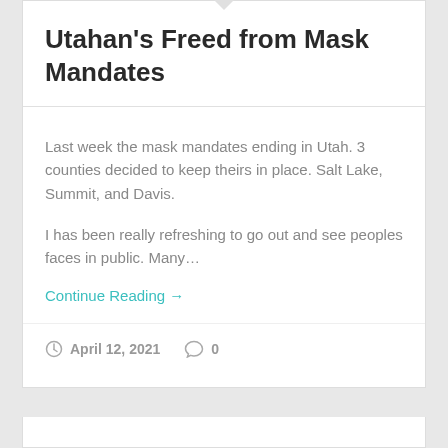Utahan's Freed from Mask Mandates
Last week the mask mandates ending in Utah. 3 counties decided to keep theirs in place. Salt Lake, Summit, and Davis.
I has been really refreshing to go out and see peoples faces in public. Many…
Continue Reading →
April 12, 2021   0